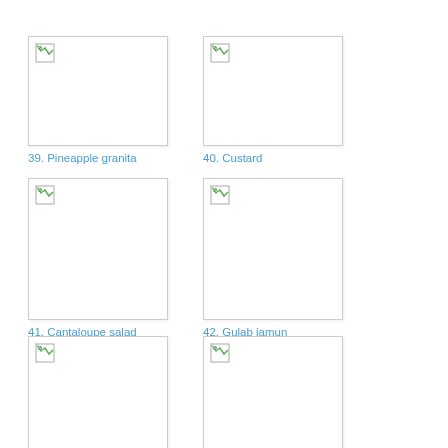[Figure (photo): Item 39 - Pineapple granita, image placeholder with broken icon]
39. Pineapple granita
[Figure (photo): Item 40 - Custard, image placeholder with broken icon]
40. Custard
[Figure (photo): Item 41 - Cantaloupe salad, image placeholder with broken icon]
41. Cantaloupe salad
[Figure (photo): Item 42 - Gulab jamun, image placeholder with broken icon]
42. Gulab jamun
[Figure (photo): Item 43 - image placeholder with broken icon, caption not visible]
[Figure (photo): Item 44 - image placeholder with broken icon, caption not visible]